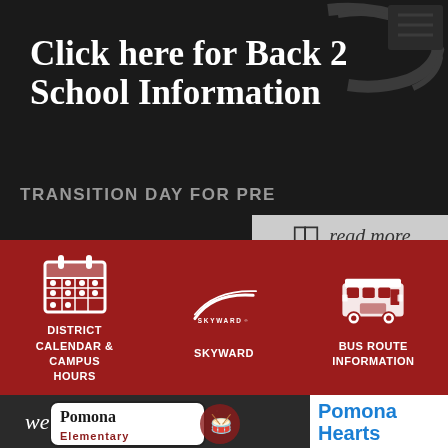Click here for Back 2 School Information
TRANSITION DAY FOR PRE
read more
[Figure (infographic): Red navigation bar with three icons: calendar icon labeled DISTRICT CALENDAR & CAMPUS HOURS, Skyward logo labeled SKYWARD, and bus icon labeled BUS ROUTE INFORMATION]
welcome!
Pomona Hearts
[Figure (logo): Pomona Elementary school logo with text and mascot illustration]